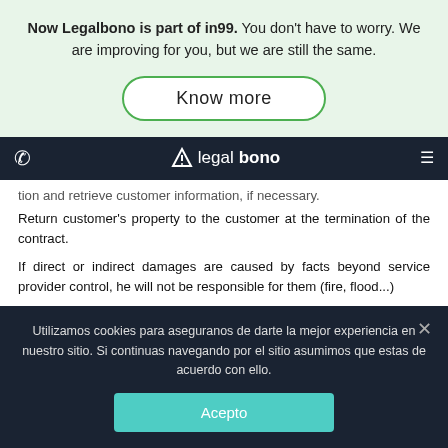Now Legalbono is part of in99. You don't have to worry. We are improving for you, but we are still the same.
[Figure (screenshot): Know more button with green rounded border on light green background]
[Figure (logo): Legalbono logo in dark navigation bar with phone icon and hamburger menu]
Service provider must comply with protection and retrieve customer information, if necessary.
Return customer's property to the customer at the termination of the contract.
If direct or indirect damages are caused by facts beyond service provider control, he will not be responsible for them (fire, flood...)
The service provider has the obligation to transfer the
Utilizamos cookies para aseguranos de darte la mejor experiencia en nuestro sitio. Si continuas navegando por el sitio asumimos que estas de acuerdo con ello.
Acepto